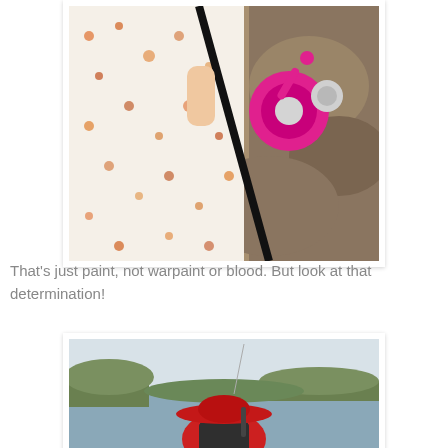[Figure (photo): Close-up photo of a person in a floral shirt holding a pink fishing reel and black rod, with rocky outdoor background]
That's just paint, not warpaint or blood. But look at that determination!
[Figure (photo): Photo of a person from behind wearing a red wide-brim hat and red top, fishing with a rod by a lake or river, overcast sky]